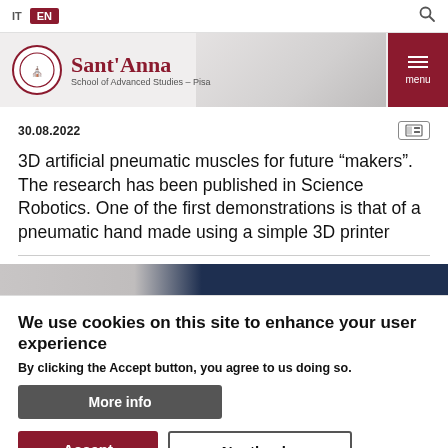IT  EN  [search icon]
[Figure (logo): Sant'Anna School of Advanced Studies – Pisa logo with circular crest, school name in red, and hamburger menu button]
30.08.2022
3D artificial pneumatic muscles for future “makers”. The research has been published in Science Robotics. One of the first demonstrations is that of a pneumatic hand made using a simple 3D printer
[Figure (photo): Partial view of a photo strip, with dark navy blue and grey tones, partially visible]
We use cookies on this site to enhance your user experience
By clicking the Accept button, you agree to us doing so.
More info
Accept
No, thanks